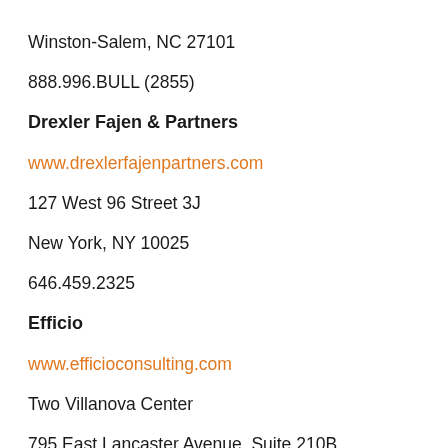Winston-Salem, NC 27101
888.996.BULL (2855)
Drexler Fajen & Partners
www.drexlerfajenpartners.com
127 West 96 Street 3J
New York, NY 10025
646.459.2325
Efficio
www.efficioconsulting.com
Two Villanova Center
795 East Lancaster Avenue, Suite 210B